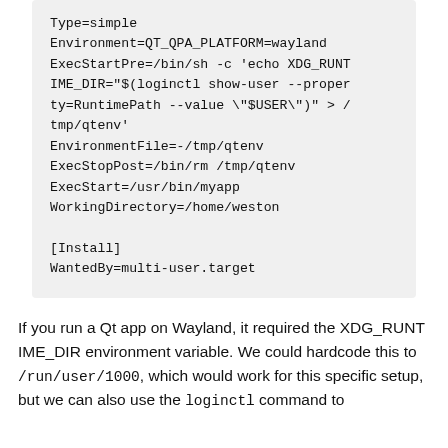Type=simple
Environment=QT_QPA_PLATFORM=wayland
ExecStartPre=/bin/sh -c 'echo XDG_RUNTIME_DIR="$(loginctl show-user --property=RuntimePath --value \"$USER\")" > /tmp/qtenv'
EnvironmentFile=-/tmp/qtenv
ExecStopPost=/bin/rm /tmp/qtenv
ExecStart=/usr/bin/myapp
WorkingDirectory=/home/weston

[Install]
WantedBy=multi-user.target
If you run a Qt app on Wayland, it required the XDG_RUNTIME_DIR environment variable. We could hardcode this to /run/user/1000, which would work for this specific setup, but we can also use the loginctl command to